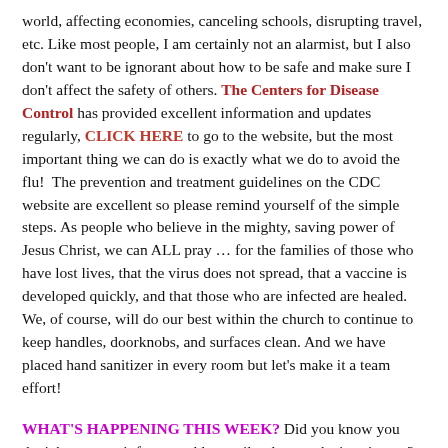world, affecting economies, canceling schools, disrupting travel, etc. Like most people, I am certainly not an alarmist, but I also don't want to be ignorant about how to be safe and make sure I don't affect the safety of others. The Centers for Disease Control has provided excellent information and updates regularly, CLICK HERE to go to the website, but the most important thing we can do is exactly what we do to avoid the flu!  The prevention and treatment guidelines on the CDC website are excellent so please remind yourself of the simple steps. As people who believe in the mighty, saving power of Jesus Christ, we can ALL pray … for the families of those who have lost lives, that the virus does not spread, that a vaccine is developed quickly, and that those who are infected are healed. We, of course, will do our best within the church to continue to keep handles, doorknobs, and surfaces clean. And we have placed hand sanitizer in every room but let's make it a team effort!
WHAT'S HAPPENING THIS WEEK? Did you know you don't have to wait for a weekly email to know what's going on?